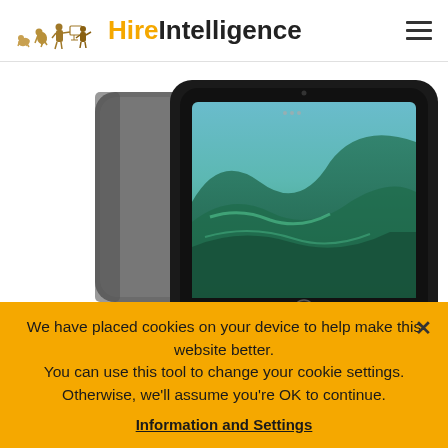HireIntelligence
[Figure (photo): Apple iPad product photo showing front face with green wallpaper and space gray aluminum body, partial view from above]
[Figure (photo): Thumbnail 1: iPad front face selected (active, yellow border)]
[Figure (photo): Thumbnail 2: iPad front and back view]
We have placed cookies on your device to help make this website better. You can use this tool to change your cookie settings. Otherwise, we'll assume you're OK to continue.
Information and Settings